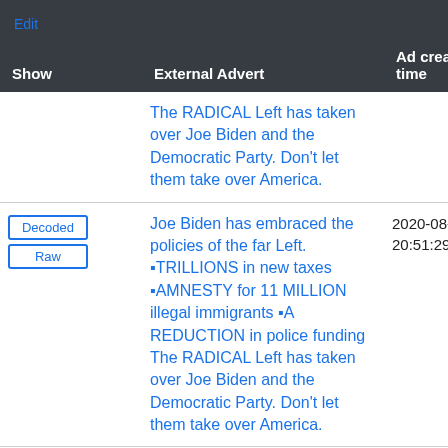| Show | External Advert | Ad creation time |
| --- | --- | --- |
|  | The RADICAL Left has taken over Joe Biden and the Democratic Party. Don't let them take over America. |  |
| Decoded
Raw | Joe Biden has embraced the policies of the far Left. •TRILLIONS in new taxes •AMNESTY for 11 MILLION illegal immigrants •A REDUCTION in police funding The RADICAL Left has taken over Joe Biden and the Democratic Party. Don't let them take over America. | 2020-08-18 20:51:29 UTC |